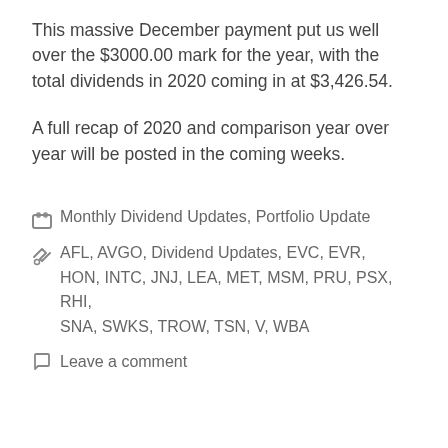This massive December payment put us well over the $3000.00 mark for the year, with the total dividends in 2020 coming in at $3,426.54.
A full recap of 2020 and comparison year over year will be posted in the coming weeks.
Categories: Monthly Dividend Updates, Portfolio Update
Tags: AFL, AVGO, Dividend Updates, EVC, EVR, HON, INTC, JNJ, LEA, MET, MSM, PRU, PSX, RHI, SNA, SWKS, TROW, TSN, V, WBA
Leave a comment